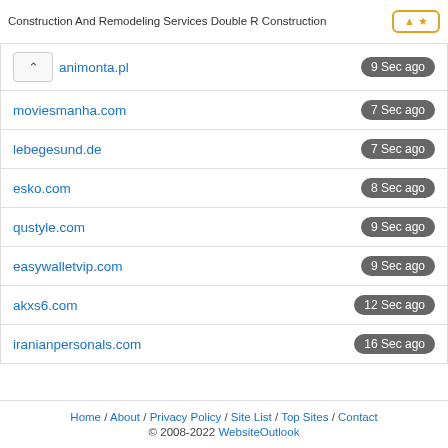Construction And Remodeling Services Double R Construction
| Domain | Time |
| --- | --- |
| animonta.pl | 9 Sec ago |
| moviesmanha.com | 7 Sec ago |
| lebegesund.de | 7 Sec ago |
| esko.com | 8 Sec ago |
| qustyle.com | 9 Sec ago |
| easywalletvip.com | 9 Sec ago |
| akxs6.com | 12 Sec ago |
| iranianpersonals.com | 16 Sec ago |
Home / About / Privacy Policy / Site List / Top Sites / Contact © 2008-2022 WebsiteOutlook